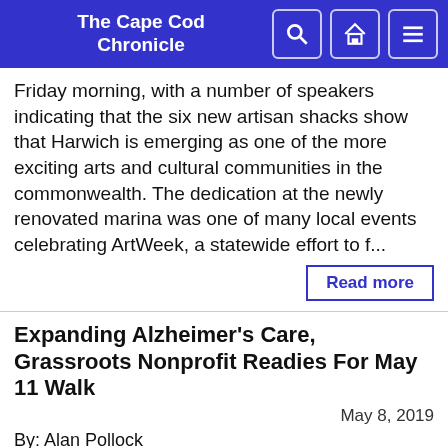The Cape Cod Chronicle
Friday morning, with a number of speakers indicating that the six new artisan shacks show that Harwich is emerging as one of the more exciting arts and cultural communities in the commonwealth. The dedication at the newly renovated marina was one of many local events celebrating ArtWeek, a statewide effort to f...
Read more
Expanding Alzheimer’s Care, Grassroots Nonprofit Readies For May 11 Walk
May 8, 2019
By: Alan Pollock
[Figure (photo): Outdoor group photo of people gathered for a walk event, with white tents and green trees in the background, and a green banner on the left side.]